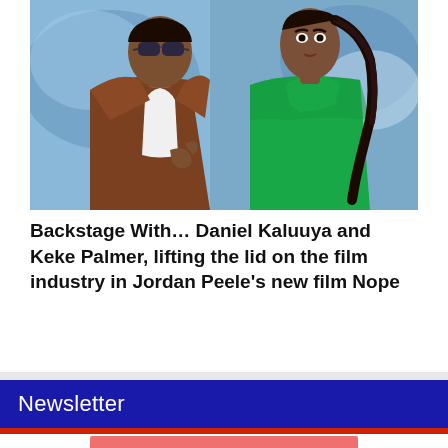[Figure (photo): Photo of two people: a man on the left wearing sunglasses and a brown suit with white shirt, and a woman on the right wearing a green lace turtleneck top with a braided ponytail. Background is blue/white.]
Backstage With… Daniel Kaluuya and Keke Palmer, lifting the lid on the film industry in Jordan Peele's new film Nope
Newsletter